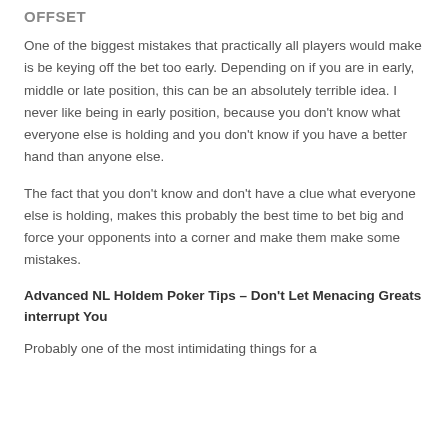OFFSET
One of the biggest mistakes that practically all players would make is be keying off the bet too early. Depending on if you are in early, middle or late position, this can be an absolutely terrible idea. I never like being in early position, because you don't know what everyone else is holding and you don't know if you have a better hand than anyone else.
The fact that you don't know and don't have a clue what everyone else is holding, makes this probably the best time to bet big and force your opponents into a corner and make them make some mistakes.
Advanced NL Holdem Poker Tips – Don't Let Menacing Greats interrupt You
Probably one of the most intimidating things for a